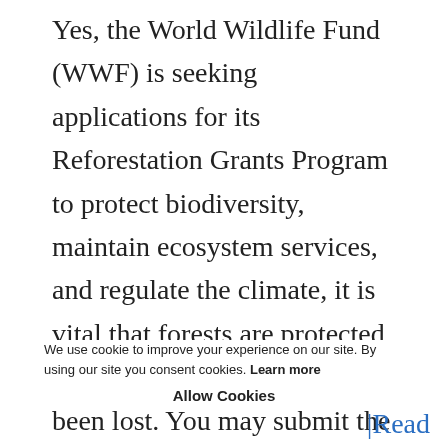Yes, the World Wildlife Fund (WWF) is seeking applications for its Reforestation Grants Program to protect biodiversity, maintain ecosystem services, and regulate the climate, it is vital that forests are protected and restored where they have been lost. You may submit the applications till 25-Nov-21. Most of WWF's work focuses on tropical rainforests, which a... forests on Earth. To ensure that communities and institutions have the resources to...
We use cookie to improve your experience on our site. By using our site you consent cookies. Learn more
Allow Cookies
|Read